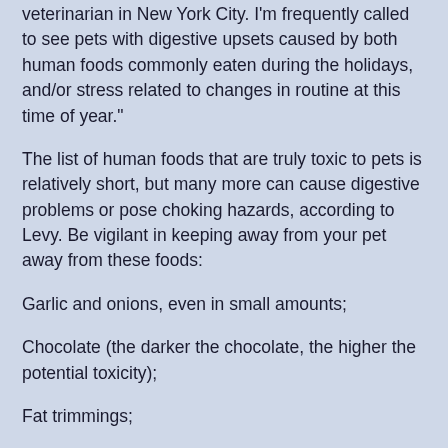veterinarian in New York City. I'm frequently called to see pets with digestive upsets caused by both human foods commonly eaten during the holidays, and/or stress related to changes in routine at this time of year."
The list of human foods that are truly toxic to pets is relatively short, but many more can cause digestive problems or pose choking hazards, according to Levy. Be vigilant in keeping away from your pet away from these foods:
Garlic and onions, even in small amounts;
Chocolate (the darker the chocolate, the higher the potential toxicity);
Fat trimmings;
Bones, especially those prone to splintering like chicken and pork;
Nuts, especially macadamia and moldy walnuts, which can